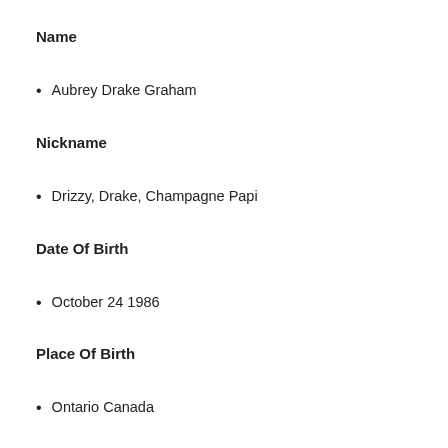Name
Aubrey Drake Graham
Nickname
Drizzy, Drake, Champagne Papi
Date Of Birth
October 24 1986
Place Of Birth
Ontario Canada
Occupation